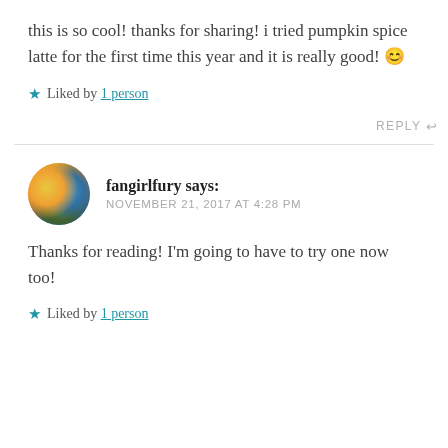this is so cool! thanks for sharing! i tried pumpkin spice latte for the first time this year and it is really good! 😊
★ Liked by 1 person
REPLY ↩
fangirlfury says: NOVEMBER 21, 2017 AT 4:28 PM
Thanks for reading! I'm going to have to try one now too!
★ Liked by 1 person